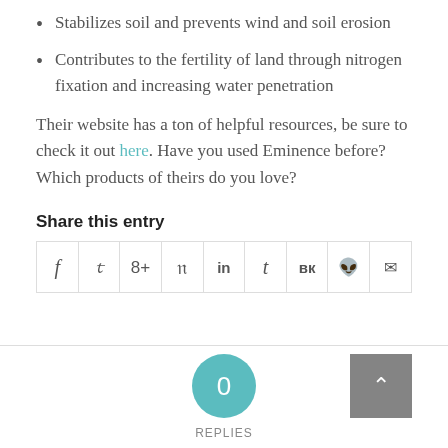Stabilizes soil and prevents wind and soil erosion
Contributes to the fertility of land through nitrogen fixation and increasing water penetration
Their website has a ton of helpful resources, be sure to check it out here. Have you used Eminence before? Which products of theirs do you love?
Share this entry
[Figure (other): Social sharing icons row: Facebook, Twitter, Google+, Pinterest, LinkedIn, Tumblr, VK, Reddit, Email]
[Figure (other): Replies section: teal circle with 0 and REPLIES label, grey up-arrow button]